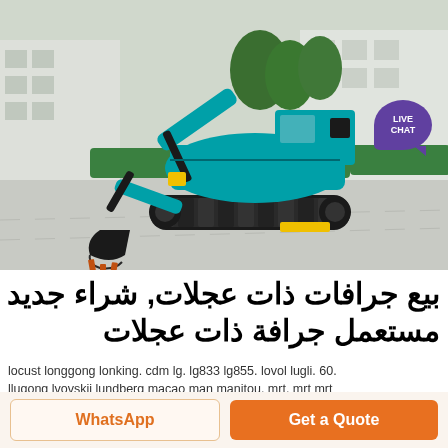[Figure (photo): A teal/green mini excavator on a concrete surface in an industrial yard, with buildings and green hedges in the background. The excavator has a bucket digging into the ground.]
بيع جرافات ذات عجلات, شراء جديد أو مستعمل جرافة ذات عجلات
locust longgong lonking. cdm lg. lg833 lg855. lovol lugli. 60. llugong lvovskii lundberg macao man manitou. mrt. mrt mrt
WhatsApp
Get a Quote